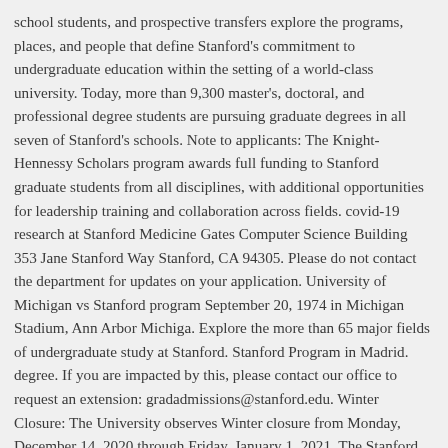school students, and prospective transfers explore the programs, places, and people that define Stanford's commitment to undergraduate education within the setting of a world-class university. Today, more than 9,300 master's, doctoral, and professional degree students are pursuing graduate degrees in all seven of Stanford's schools. Note to applicants: The Knight-Hennessy Scholars program awards full funding to Stanford graduate students from all disciplines, with additional opportunities for leadership training and collaboration across fields. covid-19 research at Stanford Medicine Gates Computer Science Building 353 Jane Stanford Way Stanford, CA 94305. Please do not contact the department for updates on your application. University of Michigan vs Stanford program September 20, 1974 in Michigan Stadium, Ann Arbor Michiga. Explore the more than 65 major fields of undergraduate study at Stanford. Stanford Program in Madrid. degree. If you are impacted by this, please contact our office to request an extension: gradadmissions@stanford.edu. Winter Closure: The University observes Winter closure from Monday, December 14, 2020 through Friday, January 1, 2021. The Stanford University School of Medicine is at the forefront of transforming medical education. For specific application procedures, please